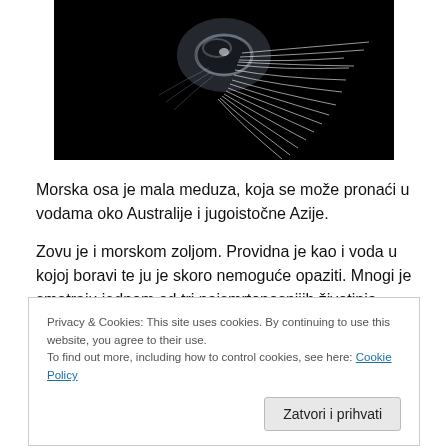[Figure (photo): A jellyfish (morska osa / box jellyfish) photographed against a black background, with glowing white tentacles streaming outward.]
Morska osa je mala meduza, koja se može pronaći u vodama oko Australije i jugoistočne Azije.
Zovu je i morskom zoljom. Providna je kao i voda u kojoj boravi te ju je skoro nemoguće opaziti. Mnogi je smatraju jednom od tri najsmrtonosnijih životinja. Ova mala meduza je ubila više ljudi nego napadi morskih pasa, krokodila i kamon riha, tvrdo naučnici. Nion uhod je toliko bolan da se
Privacy & Cookies: This site uses cookies. By continuing to use this website, you agree to their use.
To find out more, including how to control cookies, see here: Cookie Policy